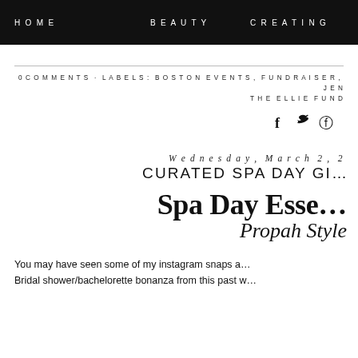HOME   BEAUTY   CREATING
0 COMMENTS · LABELS: BOSTON EVENTS, FUNDRAISER, JEN... THE ELLIE FUND
[Figure (illustration): Social share icons: Facebook, Twitter, Pinterest]
Wednesday, March 2, 2...
CURATED SPA DAY GI...
[Figure (illustration): Spa Day Essentials Propah Style logo/title graphic in large serif and script fonts]
You may have seen some of my instagram snaps ab... Bridal shower/bachelorette bonanza from this past w...